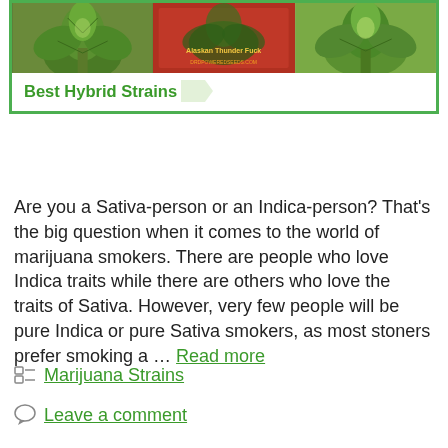[Figure (infographic): Banner showing three cannabis plant images with a green border and 'Best Hybrid Strains' label at the bottom with a chevron/arrow shape]
Are you a Sativa-person or an Indica-person? That's the big question when it comes to the world of marijuana smokers. There are people who love Indica traits while there are others who love the traits of Sativa. However, very few people will be pure Indica or pure Sativa smokers, as most stoners prefer smoking a … Read more
Marijuana Strains
Leave a comment